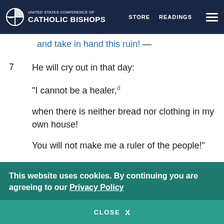UNITED STATES CONFERENCE OF CATHOLIC BISHOPS | STORE | READINGS
and take in hand this ruin! —
7  He will cry out in that day:

"I cannot be a healer,d

when there is neither bread nor clothing in my own house!

You will not make me a ruler of the people!"
8  Jerusalem has stumbled, Judah has fallen:
This website uses cookies. By continuing you are agreeing to our Privacy Policy
CLOSE  X